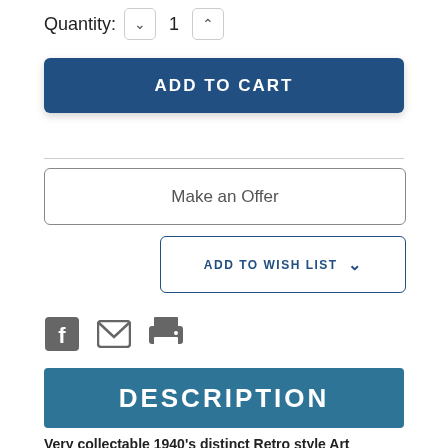Quantity: 1
ADD TO CART
Make an Offer
ADD TO WISH LIST
[Figure (illustration): Social share icons: Facebook, Email, Print]
DESCRIPTION
Very collectable 1940's distinct Retro style Art